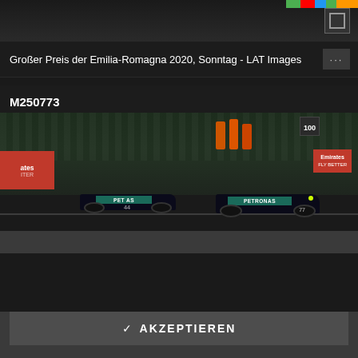[Figure (photo): Top strip of a race photo partially visible, with colored bar (Italian flag colors) and expand icon in top right corner]
Großer Preis der Emilia-Romagna 2020, Sonntag - LAT Images
M250773
[Figure (photo): Formula 1 race photo showing two Mercedes F1 cars (car #44 in front, car #77 behind) on track at Imola. Race marshals in orange visible in background. Sponsor banners: Emirates, Petronas on cars. Red banner on left side.]
Damit wollen wir unsere Webseiten nutzerfreundlicher gestalten und fortlaufend verbessern. Wenn Sie die Webseiten weiter nutzen, stimmen Sie dadurch der Verwendung von Cookies zu. Weitere Informationen erhalten Sie in unseren Cookie-Hinweisen.
AKZEPTIEREN